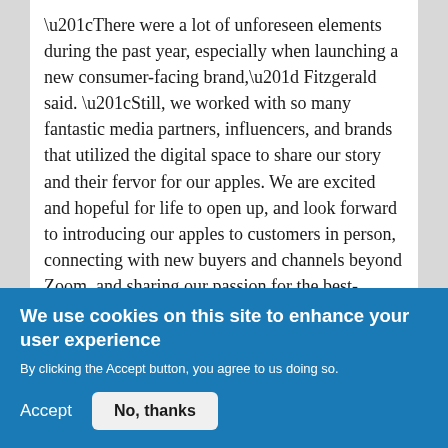“There were a lot of unforeseen elements during the past year, especially when launching a new consumer-facing brand,” Fitzgerald said. “Still, we worked with so many fantastic media partners, influencers, and brands that utilized the digital space to share our story and their fervor for our apples. We are excited and hopeful for life to open up, and look forward to introducing our apples to customers in person, connecting with new buyers and channels beyond Zoom, and sharing our passion for the best-tasting New York-grown apples.”
The company is thrilled to have Yes! Apples included as one of the only fresh brands at Pop Up
We use cookies on this site to enhance your user experience
By clicking the Accept button, you agree to us doing so.